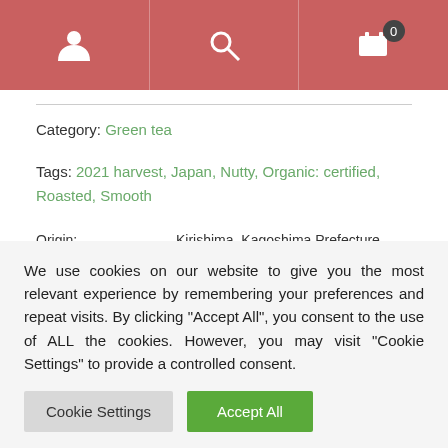Navigation header with user icon, search icon, and cart icon showing 0 items
Category: Green tea
Tags: 2021 harvest, Japan, Nutty, Organic: certified, Roasted, Smooth
| Field | Value |
| --- | --- |
| Origin: | Kirishima, Kagoshima Prefecture, Japan |
| Elevation: | Kirishima (霧島) 400m |
| Cultivar: | Yabukita (やぶきた) |
We use cookies on our website to give you the most relevant experience by remembering your preferences and repeat visits. By clicking "Accept All", you consent to the use of ALL the cookies. However, you may visit "Cookie Settings" to provide a controlled consent.